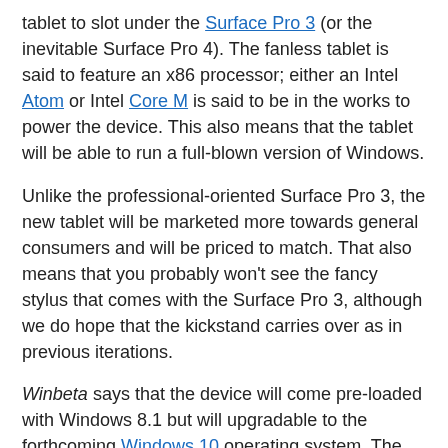tablet to slot under the Surface Pro 3 (or the inevitable Surface Pro 4). The fanless tablet is said to feature an x86 processor; either an Intel Atom or Intel Core M is said to be in the works to power the device. This also means that the tablet will be able to run a full-blown version of Windows.
Unlike the professional-oriented Surface Pro 3, the new tablet will be marketed more towards general consumers and will be priced to match. That also means that you probably won't see the fancy stylus that comes with the Surface Pro 3, although we do hope that the kickstand carries over as in previous iterations.
Winbeta says that the device will come pre-loaded with Windows 8.1 but will upgradable to the forthcoming Windows 10 operating system. The news site also says that Microsoft's official announcement for the tablet will come on or before the BUILD conference that starts April 29.